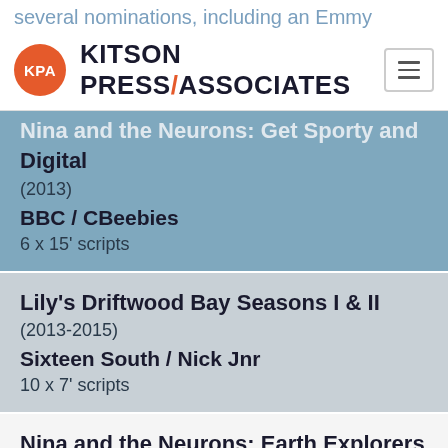several nominations, including an Emmy
KPA KITSON PRESS/ASSOCIATES
Nina and the Neurons: Get Sporty and Go Digital
Nina and the Neurons: Get Sporty and Go Digital
(2013)
BBC / CBeebies
6 x 15' scripts
Lily's Driftwood Bay Seasons I & II
(2013-2015)
Sixteen South / Nick Jnr
10 x 7' scripts
Nina and the Neurons: Earth Explorers
(2012)
BBC Scotland / CBeebies